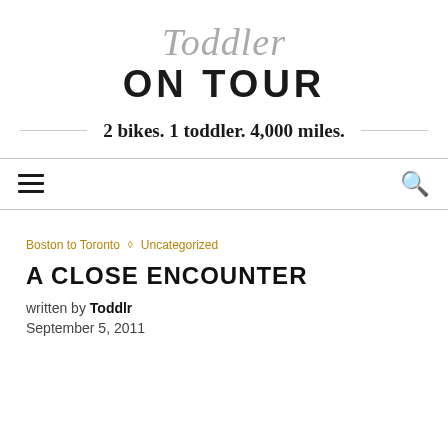Toddler ON TOUR
2 bikes. 1 toddler. 4,000 miles.
menu | search
Boston to Toronto ◇ Uncategorized
A CLOSE ENCOUNTER
written by Toddlr
September 5, 2011